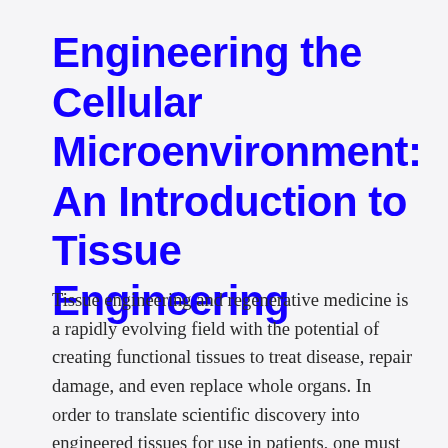Engineering the Cellular Microenvironment: An Introduction to Tissue Engineering
Tissue engineering and regenerative medicine is a rapidly evolving field with the potential of creating functional tissues to treat disease, repair damage, and even replace whole organs. In order to translate scientific discovery into engineered tissues for use in patients, one must first understand how changes to a cell’s microenvironment can be manipulated to influence cell behavior. In this introductory course, students will be exposed to basic